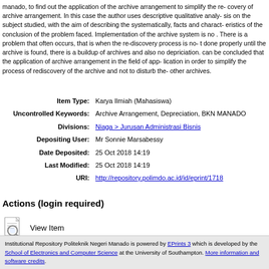manado, to find out the application of the archive arrangement to simplify the rediscovery of archive arrangement. In this case the author uses descriptive qualitative analysis on the subject studied, with the aim of describing the systematically, facts and characteristics of the conclusion of the problem faced. Implementation of the archive system is no easy. There is a problem that often occurs, that is when the re-discovery process is not done properly until the archive is found, there is a buildup of archives and also no depriciaton. So that it can be concluded that the application of archive arrangement in the field of app... in order to simplify the process of rediscovery of the archive and not to disturb the other archives.
| Field | Value |
| --- | --- |
| Item Type: | Karya Ilmiah (Mahasiswa) |
| Uncontrolled Keywords: | Archive Arrangement, Depreciation, BKN MANADO |
| Divisions: | Niaga > Jurusan Administrasi Bisnis |
| Depositing User: | Mr Sonnie Marsabessy |
| Date Deposited: | 25 Oct 2018 14:19 |
| Last Modified: | 25 Oct 2018 14:19 |
| URI: | http://repository.polimdo.ac.id/id/eprint/1718 |
Actions (login required)
[Figure (illustration): View Item icon - a document with magnifying glass]
View Item
Institutional Repository Politeknik Negeri Manado is powered by EPrints 3 which is developed by the School of Electronics and Computer Science at the University of Southampton. More information and software credits.